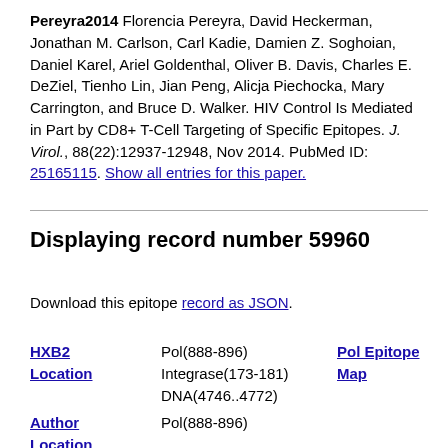Pereyra2014 Florencia Pereyra, David Heckerman, Jonathan M. Carlson, Carl Kadie, Damien Z. Soghoian, Daniel Karel, Ariel Goldenthal, Oliver B. Davis, Charles E. DeZiel, Tienho Lin, Jian Peng, Alicja Piechocka, Mary Carrington, and Bruce D. Walker. HIV Control Is Mediated in Part by CD8+ T-Cell Targeting of Specific Epitopes. J. Virol., 88(22):12937-12948, Nov 2014. PubMed ID: 25165115. Show all entries for this paper.
Displaying record number 59960
Download this epitope record as JSON.
| HXB2 Location | Pol(888-896)
Integrase(173-181)
DNA(4746..4772) | Pol Epitope Map |
| Author Location | Pol(888-896) |  |